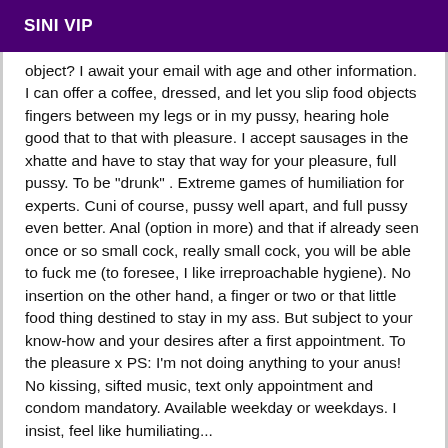SINI VIP
object? I await your email with age and other information. I can offer a coffee, dressed, and let you slip food objects fingers between my legs or in my pussy, hearing hole good that to that with pleasure. I accept sausages in the xhatte and have to stay that way for your pleasure, full pussy. To be "drunk" . Extreme games of humiliation for experts. Cuni of course, pussy well apart, and full pussy even better. Anal (option in more) and that if already seen once or so small cock, really small cock, you will be able to fuck me (to foresee, I like irreproachable hygiene). No insertion on the other hand, a finger or two or that little food thing destined to stay in my ass. But subject to your know-how and your desires after a first appointment. To the pleasure x PS: I'm not doing anything to your anus! No kissing, sifted music, text only appointment and condom mandatory. Available weekday or weekdays. I insist, feel like humiliating...